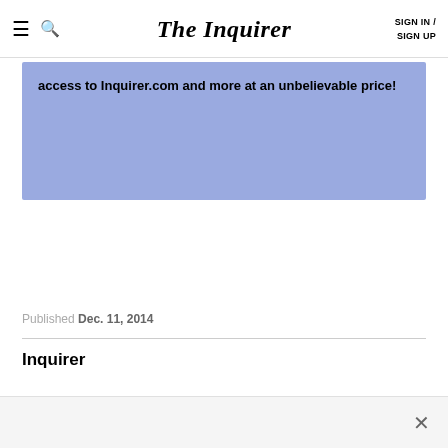The Inquirer   SIGN IN / SIGN UP
access to Inquirer.com and more at an unbelievable price!
Published Dec. 11, 2014
Inquirer